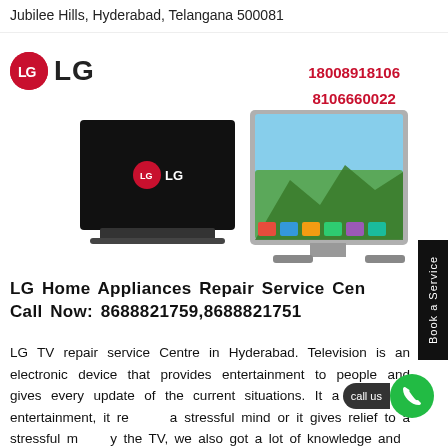Jubilee Hills, Hyderabad, Telangana 500081
[Figure (logo): LG logo with red circle and LG text]
18008918106
8106660022
[Figure (photo): Two LG TV images side by side - one black TV and one showing landscape on screen]
LG Home Appliances Repair Service Cen
Call Now: 8688821759,8688821751
LG TV repair service Centre in Hyderabad. Television is an electronic device that provides entertainment to people and gives every update of the current situations. It a source of entertainment, it re a stressful mind or it gives relief to a stressful m by the TV, we also got a lot of knowledge and